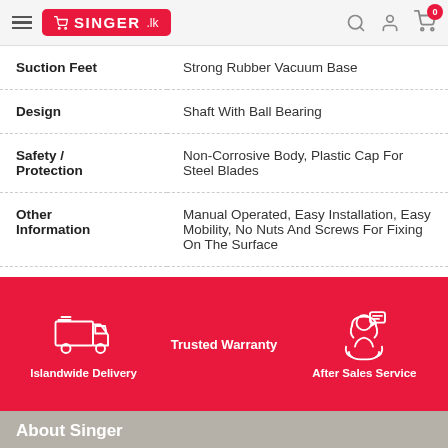SINGER.lk navigation header with menu, logo, search, user, and cart icons
| Feature | Description |
| --- | --- |
| Suction Feet | Strong Rubber Vacuum Base |
| Design | Shaft With Ball Bearing |
| Safety / Protection | Non-Corrosive Body, Plastic Cap For Steel Blades |
| Other Information | Manual Operated, Easy Installation, Easy Mobility, No Nuts And Screws For Fixing On The Surface |
[Figure (infographic): Pink banner with three service icons: Islandwide Delivery (truck icon), Trusted Warranty (text center), After Sales Service (customer service icon)]
About Singer